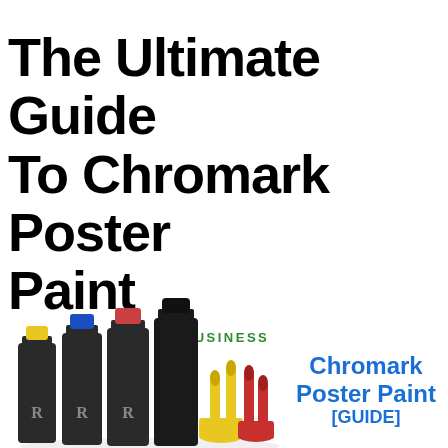The Ultimate Guide To Chromark Poster Paint
BUSINESS
[Figure (photo): Several dark paint bottles with colored caps (yellow, blue, pink/red, black) branded with 'R', alongside yellow and red paint brushes, on a white background. This appears to be Chromark Poster Paint product photo.]
Chromark Poster Paint [GUIDE]